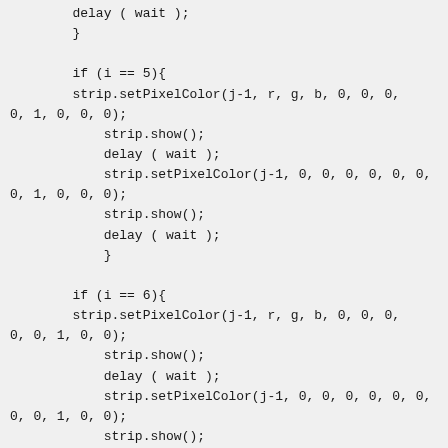delay ( wait );
        }

        if (i == 5){
        strip.setPixelColor(j-1, r, g, b, 0, 0, 0, 0, 1, 0, 0, 0);
            strip.show();
            delay ( wait );
            strip.setPixelColor(j-1, 0, 0, 0, 0, 0, 0, 0, 1, 0, 0, 0);
            strip.show();
            delay ( wait );
            }

        if (i == 6){
        strip.setPixelColor(j-1, r, g, b, 0, 0, 0, 0, 0, 1, 0, 0);
            strip.show();
            delay ( wait );
            strip.setPixelColor(j-1, 0, 0, 0, 0, 0, 0, 0, 0, 1, 0, 0);
            strip.show();
            delay ( wait );
            }

        if (i == 7){
        strip.setPixelColor(j-1, r, g, b, 0, 0, 0,